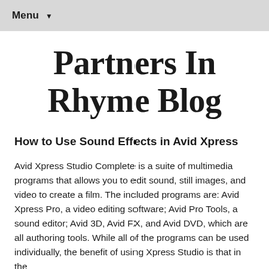Menu ▼
Partners In Rhyme Blog
How to Use Sound Effects in Avid Xpress
Avid Xpress Studio Complete is a suite of multimedia programs that allows you to edit sound, still images, and video to create a film. The included programs are: Avid Xpress Pro, a video editing software; Avid Pro Tools, a sound editor; Avid 3D, Avid FX, and Avid DVD, which are all authoring tools. While all of the programs can be used individually, the benefit of using Xpress Studio is that in the